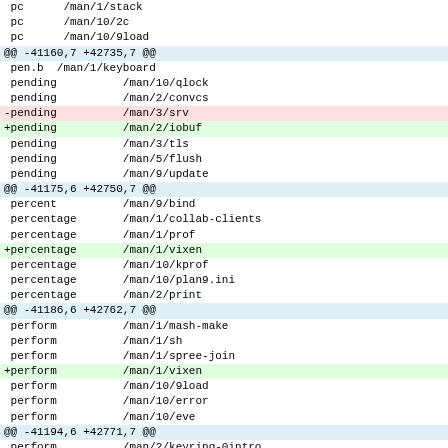pc      /man/1/stack
 pc      /man/10/2c
 pc      /man/10/9load
@@ -41160,7 +42735,7 @@
 pen.b  /man/1/keyboard
 pending          /man/10/qlock
 pending          /man/2/convcs
-pending          /man/3/srv
+pending          /man/2/iobuf
 pending          /man/3/tls
 pending          /man/5/flush
 pending          /man/9/update
@@ -41175,6 +42750,7 @@
 percent          /man/9/bind
 percentage       /man/1/collab-clients
 percentage       /man/1/prof
+percentage       /man/1/vixen
 percentage       /man/10/kprof
 percentage       /man/10/plan9.ini
 percentage       /man/2/print
@@ -41186,6 +42762,7 @@
 perform          /man/1/mash-make
 perform          /man/1/sh
 perform          /man/1/spree-join
+perform          /man/1/vixen
 perform          /man/10/9load
 perform          /man/10/error
 perform          /man/10/eve
@@ -41194,6 +42771,7 @@
 perform          /man/2/keyring-0intro